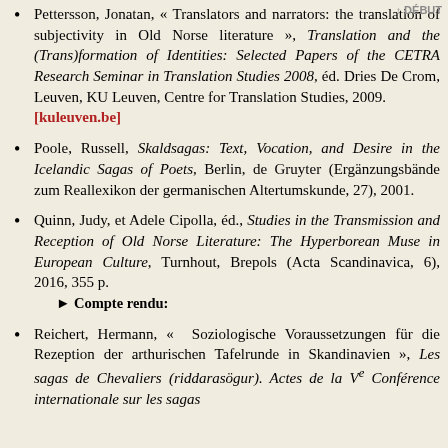↑ DÉBUT
Pettersson, Jonatan, « Translators and narrators: the translation of subjectivity in Old Norse literature », Translation and the (Trans)formation of Identities: Selected Papers of the CETRA Research Seminar in Translation Studies 2008, éd. Dries De Crom, Leuven, KU Leuven, Centre for Translation Studies, 2009. [kuleuven.be]
Poole, Russell, Skaldsagas: Text, Vocation, and Desire in the Icelandic Sagas of Poets, Berlin, de Gruyter (Ergänzungsbände zum Reallexikon der germanischen Altertumskunde, 27), 2001.
Quinn, Judy, et Adele Cipolla, éd., Studies in the Transmission and Reception of Old Norse Literature: The Hyperborean Muse in European Culture, Turnhout, Brepols (Acta Scandinavica, 6), 2016, 355 p. ► Compte rendu:
Reichert, Hermann, « Soziologische Voraussetzungen für die Rezeption der arthurischen Tafelrunde in Skandinavien », Les sagas de Chevaliers (riddarasögur). Actes de la Ve Conférence internationale sur les sagas